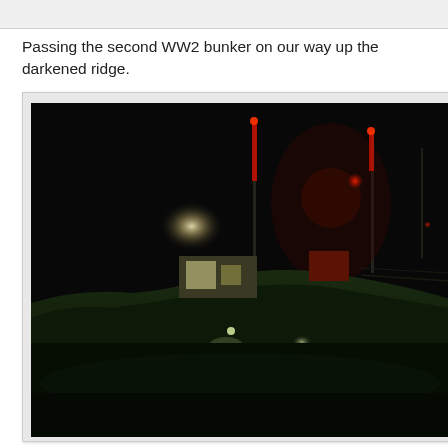Passing the second WW2 bunker on our way up the darkened ridge.
[Figure (photo): Night photograph showing a dark hillside covered in grass with a illuminated WW2 bunker structure visible in the middle distance. A bright white glow and red lights from tall poles or masts are visible against the dark sky. A flashlight illuminates some grass in the foreground.]